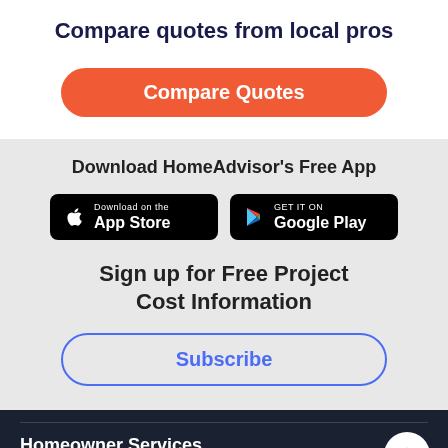Compare quotes from local pros
Compare Quotes
Download HomeAdvisor's Free App
[Figure (other): App Store and Google Play download badges]
Sign up for Free Project Cost Information
Subscribe
Homeowner Services